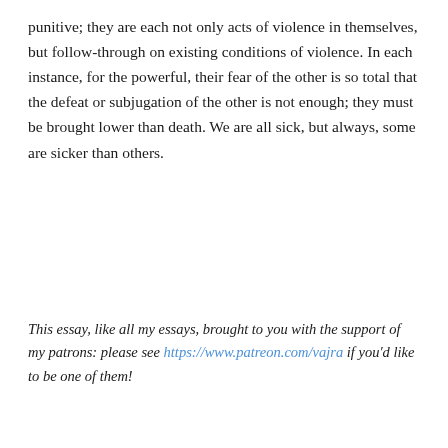punitive; they are each not only acts of violence in themselves, but follow-through on existing conditions of violence. In each instance, for the powerful, their fear of the other is so total that the defeat or subjugation of the other is not enough; they must be brought lower than death. We are all sick, but always, some are sicker than others.
This essay, like all my essays, brought to you with the support of my patrons: please see https://www.patreon.com/vajra if you'd like to be one of them!